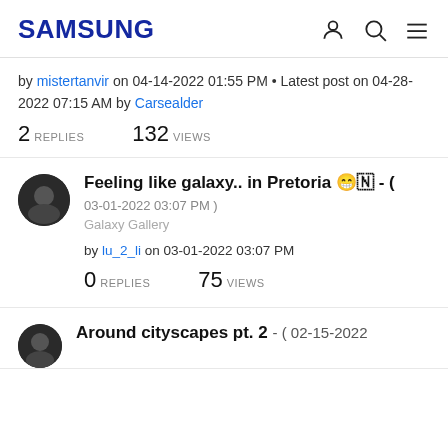SAMSUNG
by mistertanvir on 04-14-2022 01:55 PM • Latest post on 04-28-2022 07:15 AM by Carsealder
2 REPLIES   132 VIEWS
Feeling like galaxy.. in Pretoria 😁🇳 - (
03-01-2022 03:07 PM )
Galaxy Gallery
by lu_2_li on 03-01-2022 03:07 PM
0 REPLIES   75 VIEWS
Around cityscapes pt. 2 - ( 02-15-2022